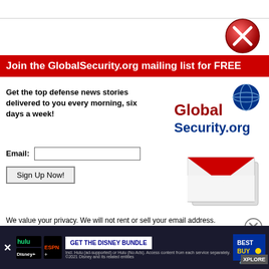[Figure (other): Red circle close/X button in top right corner of popup]
Join the GlobalSecurity.org mailing list for FREE
Get the top defense news stories delivered to you every morning, six days a week!
[Figure (logo): GlobalSecurity.org logo with globe graphic]
Email: [input field] Sign Up Now! [button]
[Figure (illustration): Red and white envelope/mail icon illustration]
We value your privacy. We will not rent or sell your email address.
No thanks, take me to GlobalSecurity.org
[Figure (other): Bottom advertisement banner: Disney Bundle offer with Hulu, Disney+, ESPN+, and Best Buy logos]